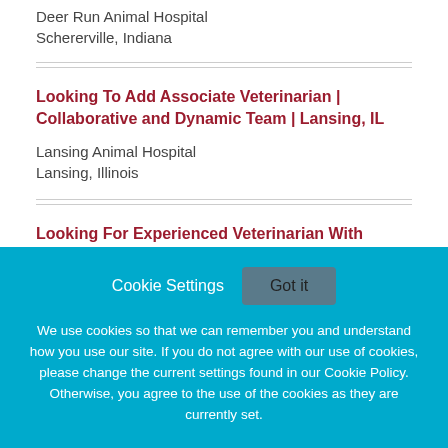Deer Run Animal Hospital
Schererville, Indiana
Looking To Add Associate Veterinarian | Collaborative and Dynamic Team | Lansing, IL
Lansing Animal Hospital
Lansing, Illinois
Looking For Experienced Veterinarian With Vision
Cookie Settings
Got it
We use cookies so that we can remember you and understand how you use our site. If you do not agree with our use of cookies, please change the current settings found in our Cookie Policy. Otherwise, you agree to the use of the cookies as they are currently set.